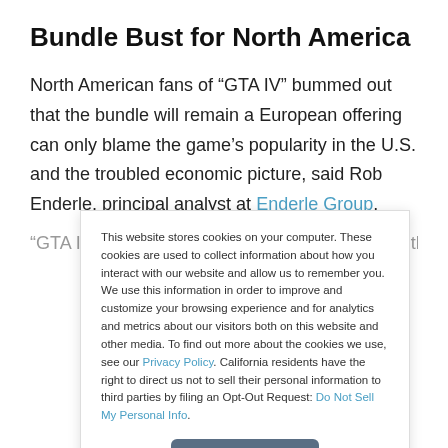Bundle Bust for North America
North American fans of “GTA IV” bummed out that the bundle will remain a European offering can only blame the game’s popularity in the U.S. and the troubled economic picture, said Rob Enderle, principal analyst at Enderle Group.
“GTA IV” is a broader U.S. institution. Also, with the problems…
This website stores cookies on your computer. These cookies are used to collect information about how you interact with our website and allow us to remember you. We use this information in order to improve and customize your browsing experience and for analytics and metrics about our visitors both on this website and other media. To find out more about the cookies we use, see our Privacy Policy. California residents have the right to direct us not to sell their personal information to third parties by filing an Opt-Out Request: Do Not Sell My Personal Info.
Accept